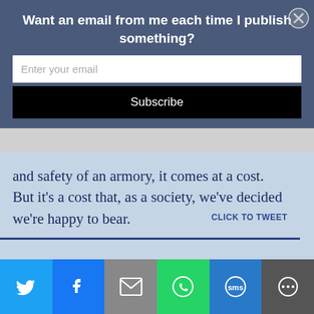Want an email from me each time I publish something?
Enter your email
Subscribe
and safety of an armory, it comes at a cost. But it’s a cost that, as a society, we’ve decided we’re happy to bear.
CLICK TO TWEET
Speaking of innocents, how do you know
Advertisements
[Figure (infographic): Social share bar with Twitter (blue), Facebook (blue), Email (gray), WhatsApp (green), SMS (blue), More (dark gray) buttons with white icons]